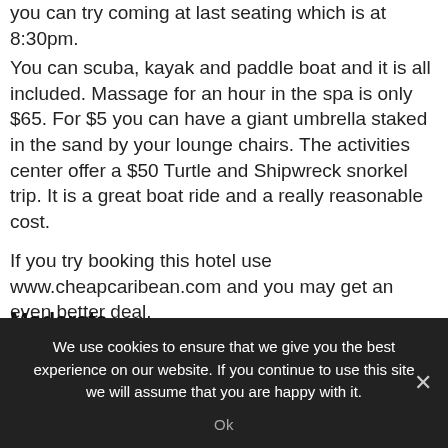you can try coming at last seating which is at 8:30pm.
You can scuba, kayak and paddle boat and it is all included. Massage for an hour in the spa is only $65. For $5 you can have a giant umbrella staked in the sand by your lounge chairs. The activities center offer a $50 Turtle and Shipwreck snorkel trip. It is a great boat ride and a really reasonable cost.
If you try booking this hotel use www.cheapcaribean.com and you may get an even better deal.
Moderate
We use cookies to ensure that we give you the best experience on our website. If you continue to use this site we will assume that you are happy with it.